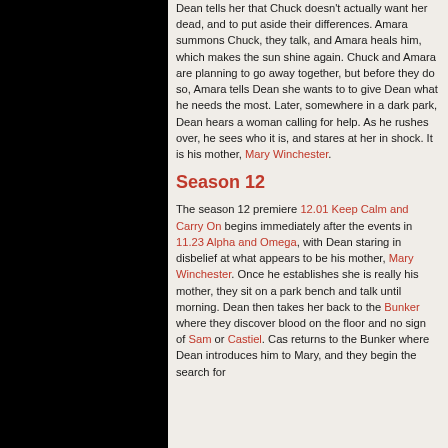Dean tells her that Chuck doesn't actually want her dead, and to put aside their differences. Amara summons Chuck, they talk, and Amara heals him, which makes the sun shine again. Chuck and Amara are planning to go away together, but before they do so, Amara tells Dean she wants to to give Dean what he needs the most. Later, somewhere in a dark park, Dean hears a woman calling for help. As he rushes over, he sees who it is, and stares at her in shock. It is his mother, Mary Winchester.
Season 12
The season 12 premiere 12.01 Keep Calm and Carry On begins immediately after the events in 11.23 Alpha and Omega, with Dean staring in disbelief at what appears to be his mother, Mary Winchester. Once he establishes she is really his mother, they sit on a park bench and talk until morning. Dean then takes her back to the Bunker where they discover blood on the floor and no sign of Sam or Castiel. Cas returns to the Bunker where Dean introduces him to Mary, and they begin the search for